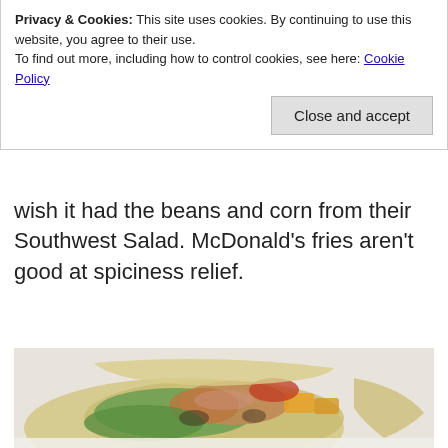Privacy & Cookies: This site uses cookies. By continuing to use this website, you agree to their use.
To find out more, including how to control cookies, see here: Cookie Policy
Close and accept
wish it had the beans and corn from their Southwest Salad. McDonald's fries aren't good at spiciness relief.
[Figure (photo): Photo of a chicken wrap/burrito with lettuce, tomato, and tortilla chips visible inside a flour tortilla wrap, placed on a white surface.]